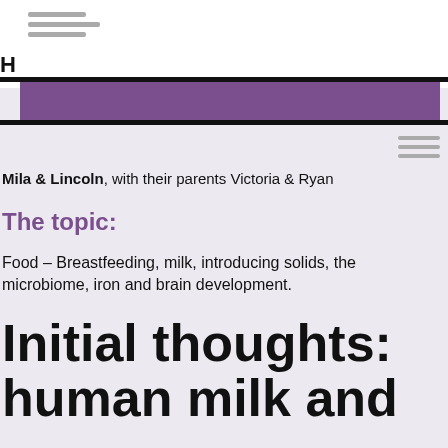H
Mila & Lincoln, with their parents Victoria & Ryan
The topic:
Food – Breastfeeding, milk, introducing solids, the microbiome, iron and brain development.
Initial thoughts: human milk and